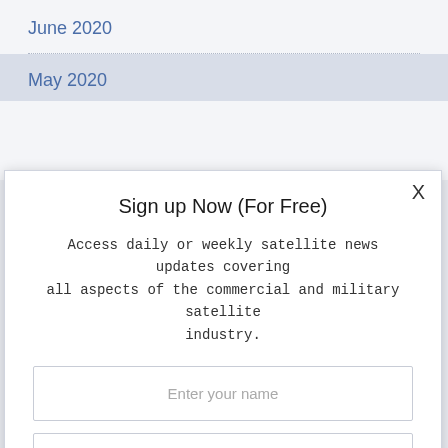June 2020
May 2020
Sign up Now (For Free)
Access daily or weekly satellite news updates covering all aspects of the commercial and military satellite industry.
Enter your name
Enter your email
Notify Me Regarding ( At least one ):
SatNews Daily
SatNews Weekly